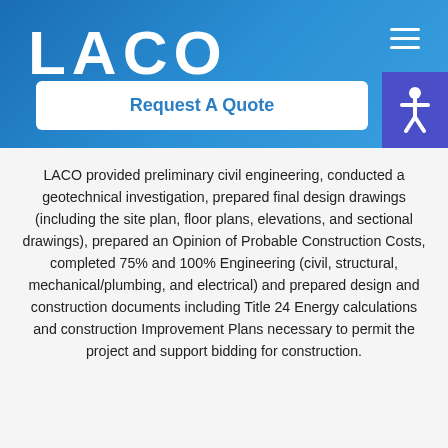[Figure (logo): LACO company logo in white bold text on blue gradient header background]
Request A Quote
LACO provided preliminary civil engineering, conducted a geotechnical investigation, prepared final design drawings (including the site plan, floor plans, elevations, and sectional drawings), prepared an Opinion of Probable Construction Costs, completed 75% and 100% Engineering (civil, structural, mechanical/plumbing, and electrical) and prepared design and construction documents including Title 24 Energy calculations and construction Improvement Plans necessary to permit the project and support bidding for construction.
Have Questions?